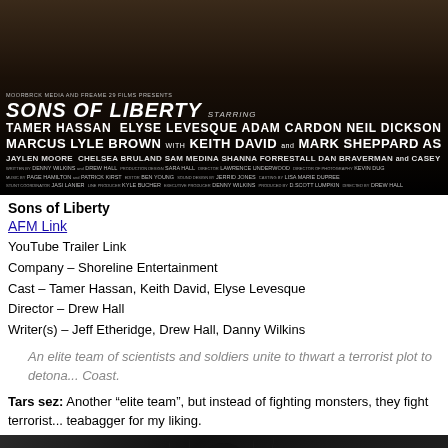[Figure (photo): Movie poster for Sons of Liberty showing dark background with white bold text listing cast and crew credits including Tamer Hassan, Elyse Levesque, Adam Cardon, Neil Dickson, Catalina Soto-Agu, Marcus Lyle Brown, Keith David, Mark Sheppard as Ackley, and others]
Sons of Liberty
AFM Link
YouTube Trailer Link
Company – Shoreline Entertainment
Cast – Tamer Hassan, Keith David, Elyse Levesque
Director – Drew Hall
Writer(s) – Jeff Etheridge, Drew Hall, Danny Wilkins
An elite team of scientists and soldiers unite to thwart a terrorist plot to detona... Coast.
Tars sez: Another “elite team”, but instead of fighting monsters, they fight terrorist... teabagger for my liking.
[Figure (photo): Black and white close-up photo of a person wearing a dark mask in the rain]